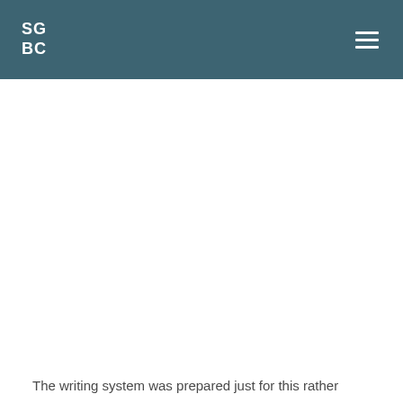SG BC
The writing system was prepared just for this rather